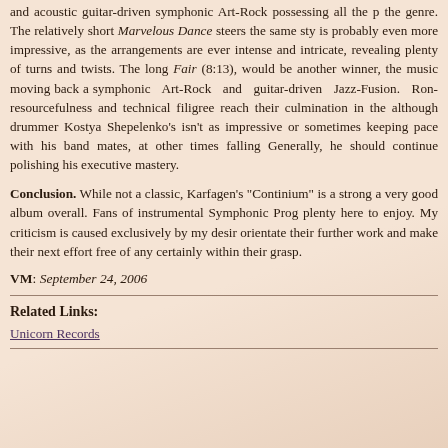and acoustic guitar-driven symphonic Art-Rock possessing all the p... the genre. The relatively short Marvelous Dance steers the same sty... is probably even more impressive, as the arrangements are ever intense and intricate, revealing plenty of turns and twists. The long... Fair (8:13), would be another winner, the music moving back a symphonic Art-Rock and guitar-driven Jazz-Fusion. Ron... resourcefulness and technical filigree reach their culmination in the although drummer Kostya Shepelenko's isn't as impressive or sometimes keeping pace with his band mates, at other times falling ... Generally, he should continue polishing his executive mastery.
Conclusion. While not a classic, Karfagen's "Continium" is a strong a very good album overall. Fans of instrumental Symphonic Prog... plenty here to enjoy. My criticism is caused exclusively by my desir... orientate their further work and make their next effort free of any certainly within their grasp.
VM: September 24, 2006
Related Links:
Unicorn Records